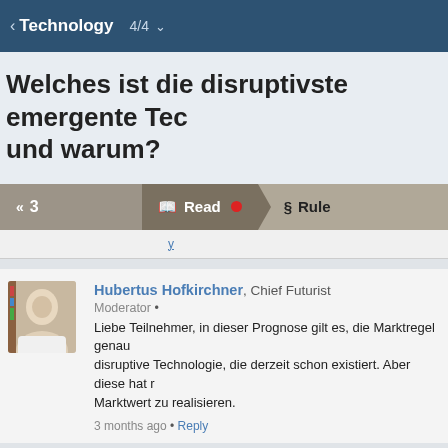< Technology  4/4  ∨
Welches ist die disruptivste emergente Tec… und warum?
«  3    Read  •  §  Rule
Hubertus Hofkirchner, Chief Futurist
Moderator •
Liebe Teilnehmer, in dieser Prognose gilt es, die Marktregel genau... disruptive Technologie, die derzeit schon existiert. Aber diese hat r... Marktwert zu realisieren.
3 months ago • Reply
angelika Vetter  -1
Wie ihr wisst, sagt meine Prognose, dass die Handlanger der lidu...